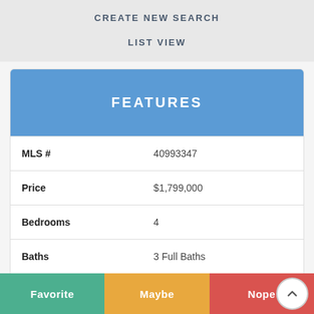CREATE NEW SEARCH
LIST VIEW
FEATURES
| Field | Value |
| --- | --- |
| MLS # | 40993347 |
| Price | $1,799,000 |
| Bedrooms | 4 |
| Baths | 3 Full Baths |
| Square Footage | 3,983 |
Favorite
Maybe
Nope